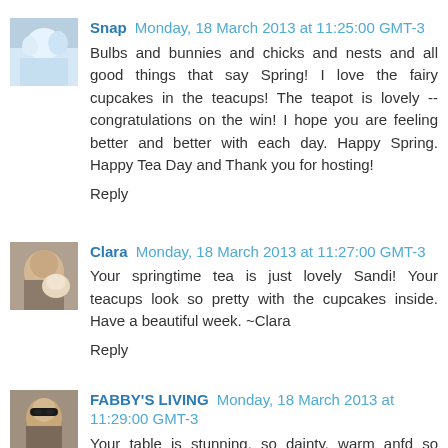[Figure (photo): Avatar image of user Snap - snowy/winter scene]
Snap Monday, 18 March 2013 at 11:25:00 GMT-3
Bulbs and bunnies and chicks and nests and all good things that say Spring! I love the fairy cupcakes in the teacups! The teapot is lovely -- congratulations on the win! I hope you are feeling better and better with each day. Happy Spring. Happy Tea Day and Thank you for hosting!
Reply
[Figure (photo): Avatar image of user Clara - person with dog]
Clara Monday, 18 March 2013 at 11:27:00 GMT-3
Your springtime tea is just lovely Sandi! Your teacups look so pretty with the cupcakes inside. Have a beautiful week. ~Clara
Reply
[Figure (photo): Avatar image of user FABBY'S LIVING - woman with sunglasses]
FABBY'S LIVING Monday, 18 March 2013 at 11:29:00 GMT-3
Your table is stunning, so dainty, warm anfd so romantic: